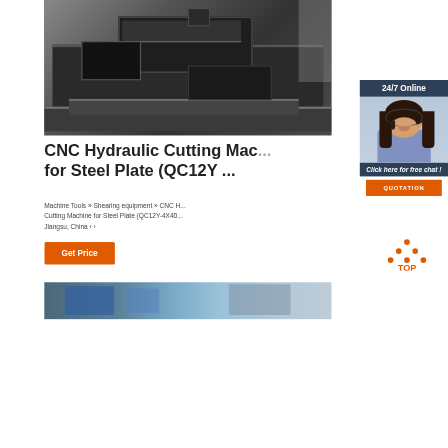[Figure (photo): CNC hydraulic cutting machine for steel plate, industrial machinery photo showing dark metal machine body with trays and mechanical arms]
[Figure (photo): 24/7 Online chat widget with customer service representative wearing headset, smiling woman with dark hair, with 'Click here for free chat!' text and QUOTATION button]
CNC Hydraulic Cutting Machine for Steel Plate (QC12Y ...
Machine Tools » Shearing equipment » CNC Hydraulic Cutting Machine for Steel Plate (QC12Y-4X40... Jiangsu, China ‹ ›
[Figure (other): Get Price orange button]
[Figure (other): TOP navigation button with orange dots forming upward triangle above 'TOP' text]
[Figure (photo): Bottom strip showing another product image, blue/teal colored machinery]